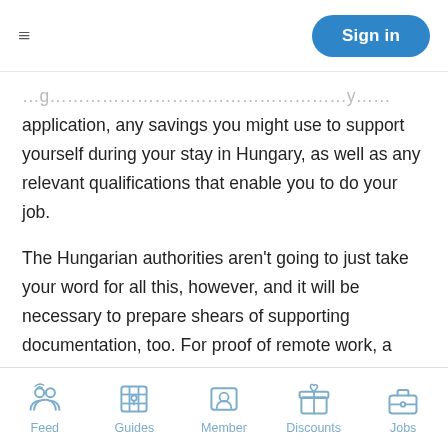Sign in
application, any savings you might use to support yourself during your stay in Hungary, as well as any relevant qualifications that enable you to do your job.
The Hungarian authorities aren't going to just take your word for all this, however, and it will be necessary to prepare shears of supporting documentation, too. For proof of remote work, a signed employment contract is the most crucial part. This must include the duration of your employment and should cover the period you plan to reside in Hungary. You will also need a letter from your employer explaining the nature of the company's activities and the scope of your work for the company, in order to prove the
Feed | Guides | Member | Discounts | Jobs